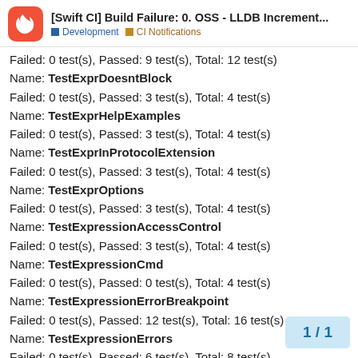[Swift CI] Build Failure: 0. OSS - LLDB Increment... | Development | CI Notifications
Failed: 0 test(s), Passed: 9 test(s), Total: 12 test(s)
Name: TestExprDoesntBlock
Failed: 0 test(s), Passed: 3 test(s), Total: 4 test(s)
Name: TestExprHelpExamples
Failed: 0 test(s), Passed: 3 test(s), Total: 4 test(s)
Name: TestExprInProtocolExtension
Failed: 0 test(s), Passed: 3 test(s), Total: 4 test(s)
Name: TestExprOptions
Failed: 0 test(s), Passed: 3 test(s), Total: 4 test(s)
Name: TestExpressionAccessControl
Failed: 0 test(s), Passed: 3 test(s), Total: 4 test(s)
Name: TestExpressionCmd
Failed: 0 test(s), Passed: 0 test(s), Total: 4 test(s)
Name: TestExpressionErrorBreakpoint
Failed: 0 test(s), Passed: 12 test(s), Total: 16 test(s)
Name: TestExpressionErrors
Failed: 0 test(s), Passed: 6 test(s), Total: 8 test(s)
Name: TestExpressionInSyscall
Failed: 0 test(s), Passed: 3 test(s), Total: 4